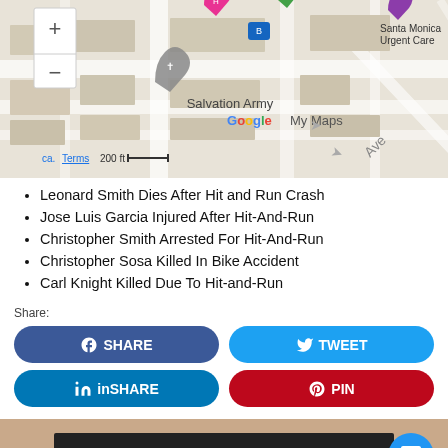[Figure (screenshot): Google My Maps screenshot showing a street map with Salvation Army marker, zoom controls (+/-), scale bar (200 ft), and Google My Maps branding. Also shows 'Santa Monica Urgent Care' label in top right.]
Leonard Smith Dies After Hit and Run Crash
Jose Luis Garcia Injured After Hit-And-Run
Christopher Smith Arrested For Hit-And-Run
Christopher Sosa Killed In Bike Accident
Carl Knight Killed Due To Hit-and-Run
Share:
SHARE (Facebook)
TWEET (Twitter)
SHARE (LinkedIn)
PIN (Pinterest)
Get a Free Consultation